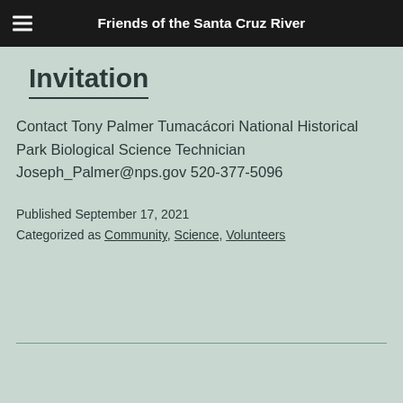Friends of the Santa Cruz River
Invitation
Contact Tony Palmer Tumacácori National Historical Park Biological Science Technician Joseph_Palmer@nps.gov 520-377-5096
Published September 17, 2021
Categorized as Community, Science, Volunteers